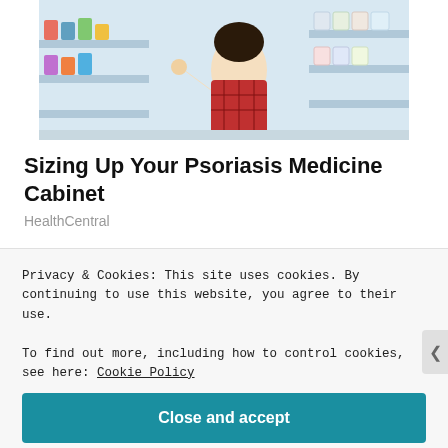[Figure (photo): Woman in plaid shirt crouching in a pharmacy or store aisle, reaching for products on shelves]
Sizing Up Your Psoriasis Medicine Cabinet
HealthCentral
[Figure (photo): Blonde woman with eyes closed looking downward, with plants in the background]
Privacy & Cookies: This site uses cookies. By continuing to use this website, you agree to their use.
To find out more, including how to control cookies, see here: Cookie Policy
Close and accept